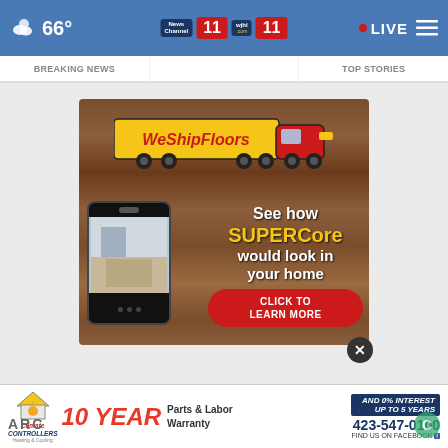66° News Channel 11 wjhl.com 11 LIVE
[Figure (screenshot): WeShipFloors advertisement showing a truck logo with yellow trailer and red cab, a smartphone displaying flooring options, and text: See how SUPERCore would look in your home. CLICK TO LEARN MORE button in red.]
[Figure (advertisement): Climate Controllers 10 YEAR Parts & Labor Warranty, AND 0% INTEREST UP TO 5 YEARS, 423-547-0100, FIND US ON FACEBOOK]